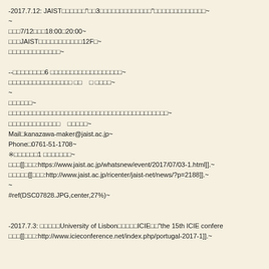-2017.7.12: JAIST□□□□□□"□□3□□□□□□□□□□□□□□□"□□□□□□□□□□□□□~
~
□□□7/12□□□18:00□20:00~
□□□JAIST□□□□□□□□□□□□□12F□~
□□□□□□□□□□□□□~
--□□□□□□□□□6 □□□□□□□□□□□□□□□□□□□□□~
□□□□□□□□□□□□□□□□ □□　□ □□□□~
~
□□□□□□~
□□□□□□□□□□□□□□□□□□□□□□□□□□□□□□□□□□□□□□□□~
□□□□□□□□□□□□□　□□□□□~
Mail□kanazawa-maker@jaist.ac.jp~
Phone□0761-51-1708~
※□□□□□□1 □□□□□□□~
□□□[[□□□:https://www.jaist.ac.jp/whatsnew/event/2017/07/03-1.html]].~
□□□□□[[□□□:http://www.jaist.ac.jp/ricenter/jaist-net/news/?p=2188]].~
~
#ref(DSC07828.JPG,center,27%)~
-2017.7.3: □□□□□University of Lisbon□□□□□ICIE□□"the 15th ICIE confere
□□□[[□□□:http://www.icieconference.net/index.php/portugal-2017-1]].~